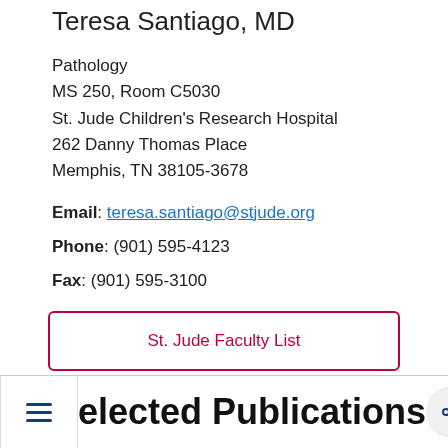Teresa Santiago, MD
Pathology
MS 250, Room C5030
St. Jude Children's Research Hospital
262 Danny Thomas Place
Memphis, TN 38105-3678
Email: teresa.santiago@stjude.org
Phone: (901) 595-4123
Fax: (901) 595-3100
St. Jude Faculty List
Selected Publications